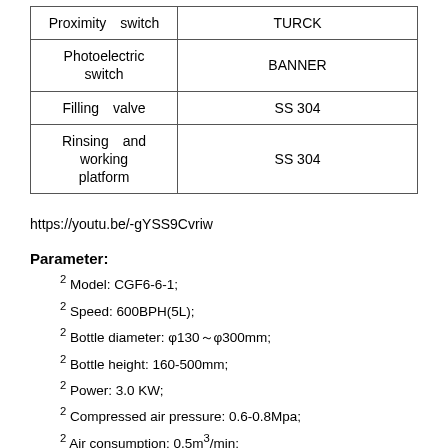| Proximity  switch | TURCK |
| Photoelectric  switch | BANNER |
| Filling  valve | SS 304 |
| Rinsing  and working platform | SS 304 |
https://youtu.be/-gYSS9Cvriw
Parameter:
² Model: CGF6-6-1;
² Speed: 600BPH(5L);
² Bottle diameter: φ130～φ300mm;
² Bottle height: 160-500mm;
² Power: 3.0 KW;
² Compressed air pressure: 0.6-0.8Mpa;
² Air consumption: 0.5m³/min;
² Water consumption of rinsing: about 0.8m³/h;